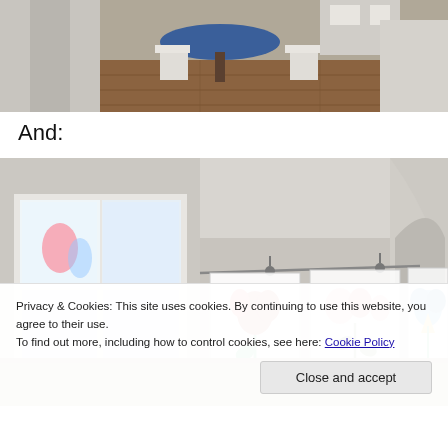[Figure (photo): Top portion of a photo showing a children's play area with a round table, small chairs, and wooden floor]
And:
[Figure (photo): A room with children's artwork hanging on a rod/curtain rod, showing colorful paintings of flowers. A window with light coming through is visible on the left. An arched doorway is on the right.]
Privacy & Cookies: This site uses cookies. By continuing to use this website, you agree to their use.
To find out more, including how to control cookies, see here: Cookie Policy
Close and accept